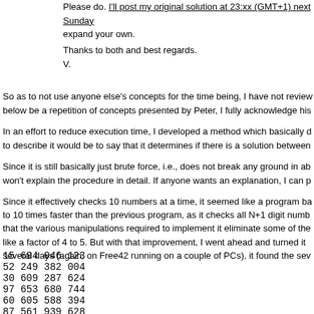Please do. I'll post my original solution at 23:xx (GMT+1) next Sunday expand your own.
Thanks to both and best regards.
V.
So as to not use anyone else's concepts for the time being, I have not review below be a repetition of concepts presented by Peter, I fully acknowledge his
In an effort to reduce execution time, I developed a method which basically d to describe it would be to say that it determines if there is a solution between
Since it is still basically just brute force, i.e., does not break any ground in at won't explain the procedure in detail. If anyone wants an explanation, I can p
Since it effectively checks 10 numbers at a time, it seemed like a program ba to 10 times faster than the previous program, as it checks all N+1 digit numb that the various manipulations required to implement it eliminate some of the like a factor of 4 to 5. But with that improvement, I went ahead and turned it several days (again, on Free42 running on a couple of PCs), it found the sev
15 694 046 123
52 249 382 004
30 609 287 624
97 653 680 744
60 605 588 394
87 561 939 628
41 919 540 249
The...